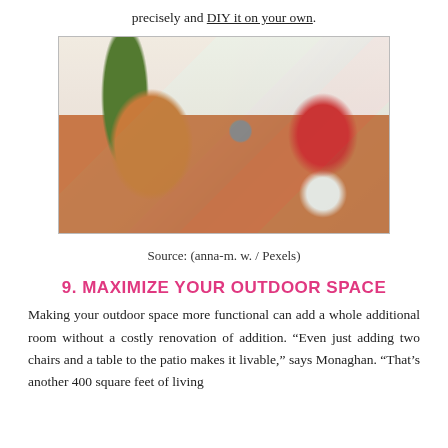precisely and DIY it on your own.
[Figure (photo): A cat sitting on terracotta steps surrounded by large potted plants including a big fern/tropical plant in a terracotta pot, with red flowering plants and greenery, in an outdoor patio or courtyard setting.]
Source: (anna-m. w. / Pexels)
9. MAXIMIZE YOUR OUTDOOR SPACE
Making your outdoor space more functional can add a whole additional room without a costly renovation of addition. “Even just adding two chairs and a table to the patio makes it livable,” says Monaghan. “That’s another 400 square feet of living